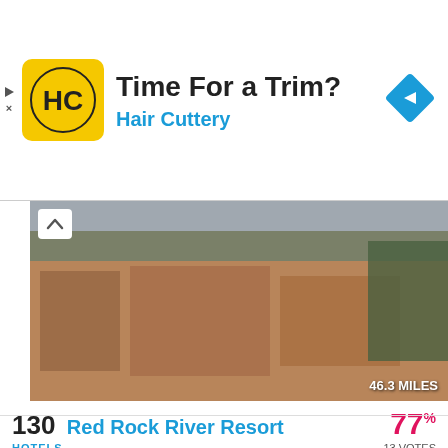[Figure (screenshot): Hair Cuttery advertisement banner with yellow logo showing HC initials, headline 'Time For a Trim?' and blue navigation icon]
[Figure (photo): Exterior photo of Red Rock River Resort building in Hot Springs, SD. Multi-story brick building with mountains in background. Badge shows '46.3 MILES']
130 Red Rock River Resort — 77% — 13 VOTES — HOTELS — 603 NORTH RIVER STREET, HOT SPRINGS, SD — Less Info
The Red Rock River Resort is one of the more popular boutique lodging options in the area. It features a full service spa in addition to luxurious rooms to allow for complete relaxation when visiting the historic Hot Springs.